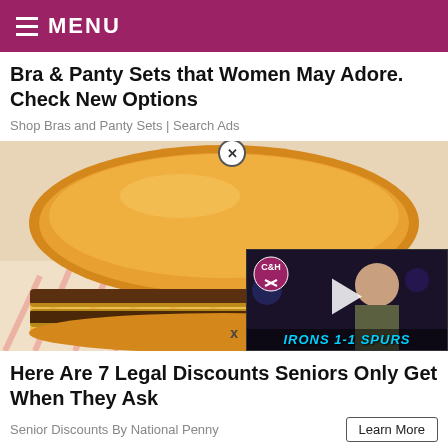MENU
Bra & Panty Sets that Women May Adore. Check New Options
Shop Bras and Panty Sets | Search Ads
[Figure (photo): A cheeseburger with double beef patties on a white bun, sitting on wrapped paper, with a video overlay in the bottom-right corner showing a bald man and text 'IRONS 1-1 SPURS' with a C&H logo]
Here Are 7 Legal Discounts Seniors Only Get When They Ask
Senior Discounts By National Penny